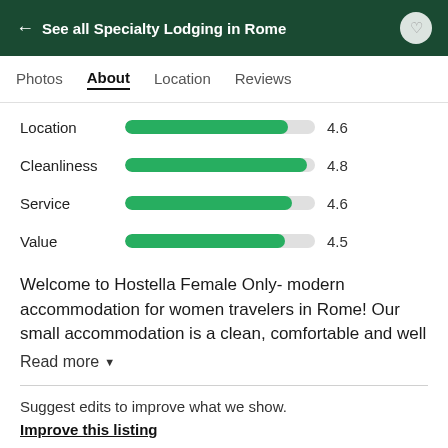← See all Specialty Lodging in Rome
Photos  About  Location  Reviews
[Figure (bar-chart): Ratings]
Welcome to Hostella Female Only- modern accommodation for women travelers in Rome! Our small accommodation is a clean, comfortable and well
Read more
Suggest edits to improve what we show.
Improve this listing
Property amenities
Street parking   Free High Speed Internet